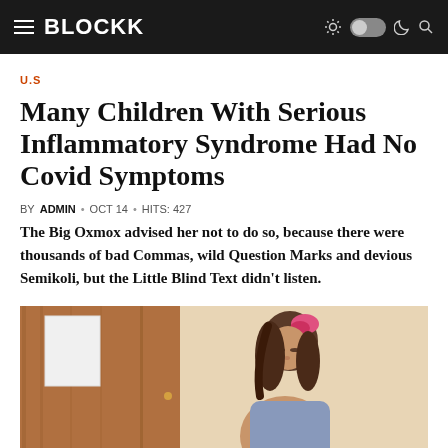BLOCKK
U.S
Many Children With Serious Inflammatory Syndrome Had No Covid Symptoms
BY ADMIN · OCT 14 · HITS: 427
The Big Oxmox advised her not to do so, because there were thousands of bad Commas, wild Question Marks and devious Semikoli, but the Little Blind Text didn't listen.
[Figure (photo): A young girl with a pink hair accessory looking downward, photographed near a wooden door with a white paper posted on it]